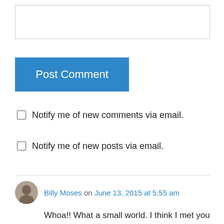[Figure (other): Empty text input box for comment entry]
Post Comment
Notify me of new comments via email.
Notify me of new posts via email.
Billy Moses on June 13, 2015 at 5:55 am
Whoa!! What a small world. I think I met you in Tehachapi. If you were in front of an Alberson’s in Tehachapi. I saw you with a backpack on (and I think you had a walking stick). I asked if you were hiking the PCT and you said yes. Maybe?